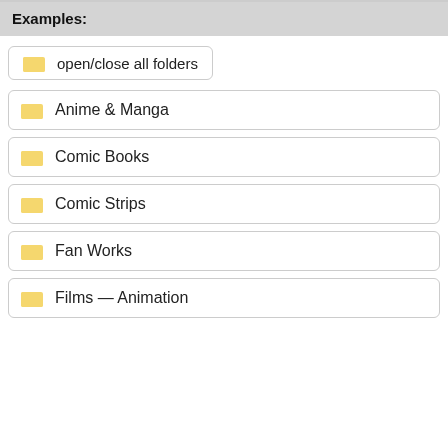Examples:
open/close all folders
Anime & Manga
Comic Books
Comic Strips
Fan Works
Films — Animation